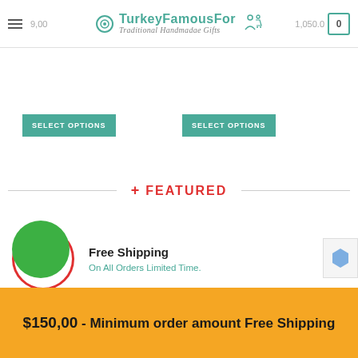TurkeyFamousFor – Traditional Handmadae Gifts
SELECT OPTIONS
SELECT OPTIONS
+ FEATURED
Free Shipping
On All Orders Limited Time.
$150,00 - Minimum order amount Free Shipping